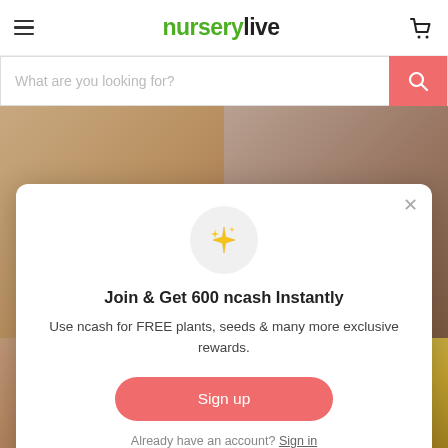nurserylive
What are you looking for?
[Figure (screenshot): Two blurred background images behind modal: left shows wooden surface, right shows terracotta pot]
Join & Get 600 ncash Instantly
Use ncash for FREE plants, seeds & many more exclusive rewards.
Sign up
Already have an account? Sign in